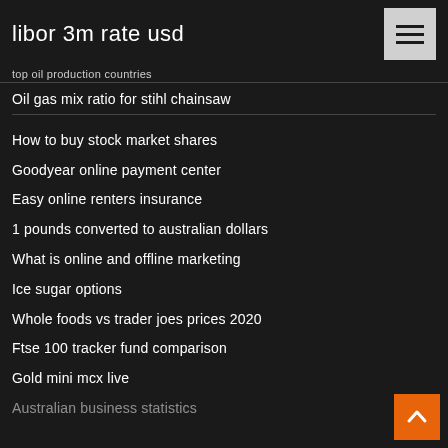libor 3m rate usd
top oil production countries
Oil gas mix ratio for stihl chainsaw
How to buy stock market shares
Goodyear online payment center
Easy online renters insurance
1 pounds converted to australian dollars
What is online and offline marketing
Ice sugar options
Whole foods vs trader joes prices 2020
Ftse 100 tracker fund comparison
Gold mini mcx live
Australian business statistics